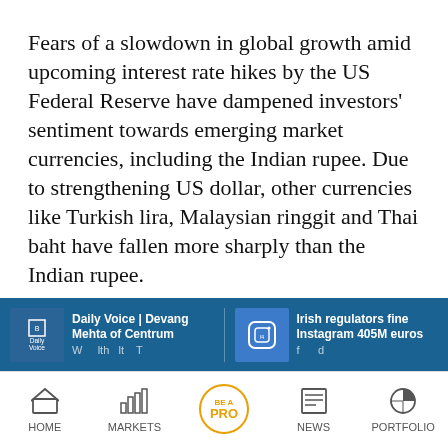Fears of a slowdown in global growth amid upcoming interest rate hikes by the US Federal Reserve have dampened investors' sentiment towards emerging market currencies, including the Indian rupee. Due to strengthening US dollar, other currencies like Turkish lira, Malaysian ringgit and Thai baht have fallen more sharply than the Indian rupee.
The relentless selling of Indian stocks by foreign institutional investors is also at play here. The rupee has held up well relative to other emerging market currencies over the past
[Figure (screenshot): Related article thumbnail: Daily Voice | Devang Mehta of Centrum Wealth...]
[Figure (screenshot): Related article thumbnail: Irish regulators fine Instagram 405M euros for data breach]
HOME   MARKETS   BE A PRO   NEWS   PORTFOLIO